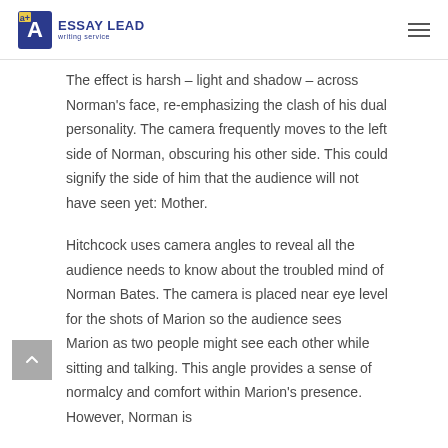ESSAY LEAD writing service
The effect is harsh – light and shadow – across Norman's face, re-emphasizing the clash of his dual personality. The camera frequently moves to the left side of Norman, obscuring his other side. This could signify the side of him that the audience will not have seen yet: Mother.
Hitchcock uses camera angles to reveal all the audience needs to know about the troubled mind of Norman Bates. The camera is placed near eye level for the shots of Marion so the audience sees Marion as two people might see each other while sitting and talking. This angle provides a sense of normalcy and comfort within Marion's presence. However, Norman is